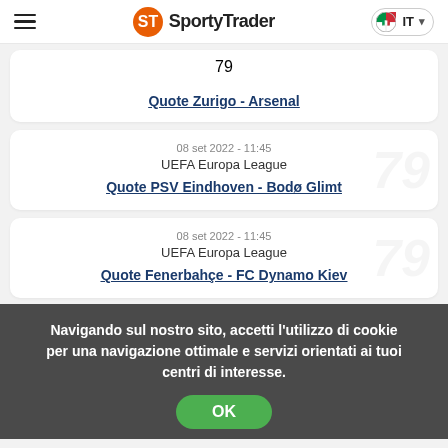SportyTrader IT
Quote Zurigo - Arsenal
08 set 2022 - 11:45
UEFA Europa League
Quote PSV Eindhoven - Bodø Glimt
08 set 2022 - 11:45
UEFA Europa League
Quote Fenerbahçe - FC Dynamo Kiev
Navigando sul nostro sito, accetti l'utilizzo di cookie per una navigazione ottimale e servizi orientati ai tuoi centri di interesse.
OK